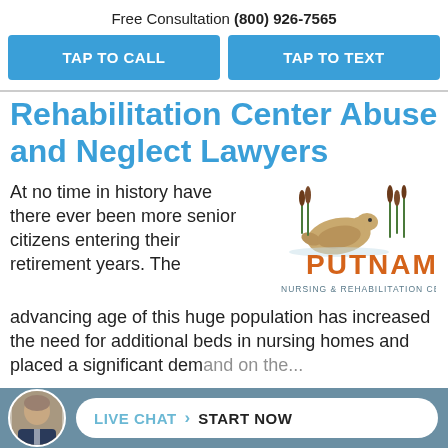Free Consultation (800) 926-7565
TAP TO CALL
TAP TO TEXT
Rehabilitation Center Abuse and Neglect Lawyers
At no time in history have there ever been more senior citizens entering their retirement years. The advancing age of this huge population has increased the need for additional beds in nursing homes and placed a significant demand on the...
[Figure (logo): Putnam Nursing & Rehabilitation Center logo with duck and reeds illustration]
LIVE CHAT START NOW